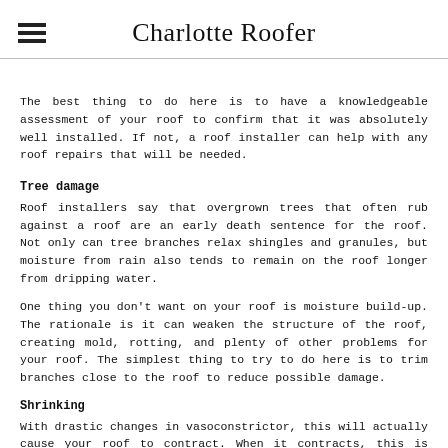Charlotte Roofer
The best thing to do here is to have a knowledgeable assessment of your roof to confirm that it was absolutely well installed. If not, a roof installer can help with any roof repairs that will be needed.
Tree damage
Roof installers say that overgrown trees that often rub against a roof are an early death sentence for the roof. Not only can tree branches relax shingles and granules, but moisture from rain also tends to remain on the roof longer from dripping water.
One thing you don't want on your roof is moisture build-up. The rationale is it can weaken the structure of the roof, creating mold, rotting, and plenty of other problems for your roof. The simplest thing to try to do here is to trim branches close to the roof to reduce possible damage.
Shrinking
With drastic changes in vasoconstrictor, this will actually cause your roof to contract. When it contracts, this is often also called shrinking.